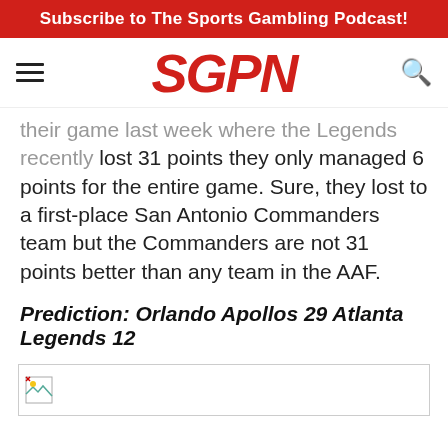Subscribe to The Sports Gambling Podcast!
[Figure (logo): SGPN logo in red italic bold text, with hamburger menu icon on the left and search icon on the right]
...their game last week where the Legends recently lost 31 points they only managed 6 points for the entire game. Sure, they lost to a first-place San Antonio Commanders team but the Commanders are not 31 points better than any team in the AAF.
Prediction: Orlando Apollos 29 Atlanta Legends 12
[Figure (photo): Broken image placeholder]